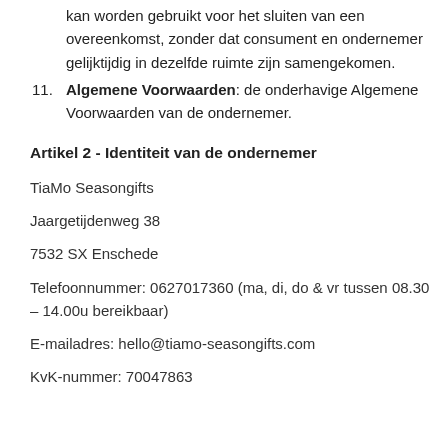kan worden gebruikt voor het sluiten van een overeenkomst, zonder dat consument en ondernemer gelijktijdig in dezelfde ruimte zijn samengekomen.
11. Algemene Voorwaarden: de onderhavige Algemene Voorwaarden van de ondernemer.
Artikel 2 - Identiteit van de ondernemer
TiaMo Seasongifts
Jaargetijdenweg 38
7532 SX Enschede
Telefoonnummer: 0627017360 (ma, di, do & vr tussen 08.30 – 14.00u bereikbaar)
E-mailadres: hello@tiamo-seasongifts.com
KvK-nummer: 70047863